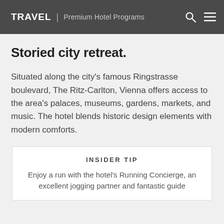TRAVEL | Premium Hotel Programs
Storied city retreat.
Situated along the city's famous Ringstrasse boulevard, The Ritz-Carlton, Vienna offers access to the area's palaces, museums, gardens, markets, and music. The hotel blends historic design elements with modern comforts.
INSIDER TIP
Enjoy a run with the hotel's Running Concierge, an excellent jogging partner and fantastic guide